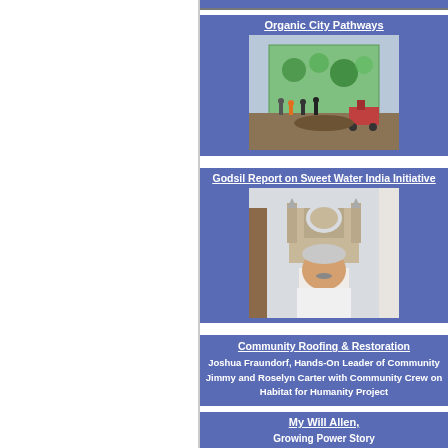Organic City Pathways
[Figure (photo): People working outdoors near a building with a colorful mural, with construction equipment visible]
Godsil Report on Sweet Water India Initiative
[Figure (photo): Man in white shirt standing in front of the Gateway of India monument]
Community Roofing & Restoration
Joshua Fraundorf, Hands-On Leader of Community
Jimmy and Roselyn Carter with Community Crew on Habitat for Humanity Project
My Will Allen,
Growing Power Story